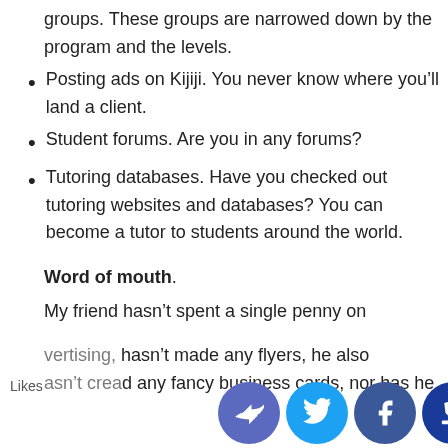groups. These groups are narrowed down by the program and the levels.
Posting ads on Kijiji. You never know where you'll land a client.
Student forums. Are you in any forums?
Tutoring databases. Have you checked out tutoring websites and databases? You can become a tutor to students around the world.
Word of mouth.
My friend hasn't spent a single penny on advertising, hasn't made any flyers, he also hasn't created any fancy business cards, nor has he